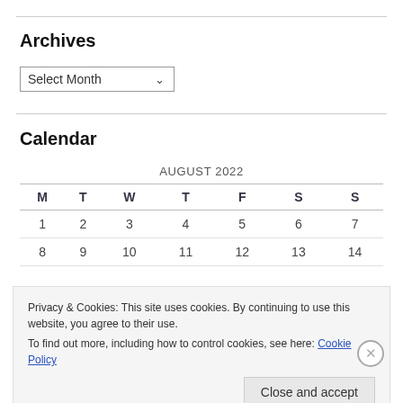Archives
Select Month
Calendar
| M | T | W | T | F | S | S |
| --- | --- | --- | --- | --- | --- | --- |
| 1 | 2 | 3 | 4 | 5 | 6 | 7 |
| 8 | 9 | 10 | 11 | 12 | 13 | 14 |
Privacy & Cookies: This site uses cookies. By continuing to use this website, you agree to their use.
To find out more, including how to control cookies, see here: Cookie Policy
Close and accept